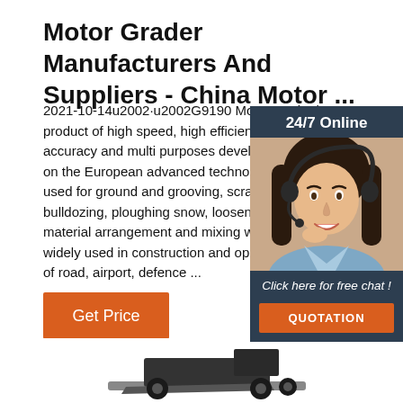Motor Grader Manufacturers And Suppliers - China Motor ...
2021-10-14u2002·u2002G9190 Motor grader is a product of high speed, high efficiency,high accuracy and multi purposes developed by SDLG on the European advanced technology, can be used for ground and grooving, scraping slope, bulldozing, ploughing snow, loosening,compacting, material arrangement and mixing works, and is widely used in construction and operating condition of road, airport, defence ...
[Figure (photo): Customer service representative wearing headset, smiling, with 24/7 Online label and chat/quotation call-to-action overlay]
Get Price
[Figure (photo): Motor grader machinery visible at bottom of page]